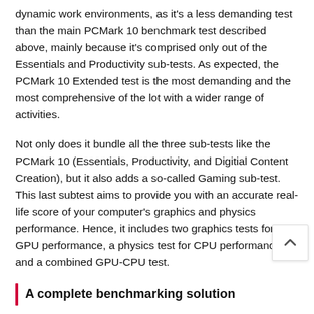dynamic work environments, as it's a less demanding test than the main PCMark 10 benchmark test described above, mainly because it's comprised only out of the Essentials and Productivity sub-tests. As expected, the PCMark 10 Extended test is the most demanding and the most comprehensive of the lot with a wider range of activities.
Not only does it bundle all the three sub-tests like the PCMark 10 (Essentials, Productivity, and Digitial Content Creation), but it also adds a so-called Gaming sub-test. This last subtest aims to provide you with an accurate real-life score of your computer's graphics and physics performance. Hence, it includes two graphics tests for GPU performance, a physics test for CPU performance, and a combined GPU-CPU test.
A complete benchmarking solution
By comparing the obtained scores, PCMark can reveal real-world performance differences between multiple hardware configurations. Its wide range of tests can measure multiple